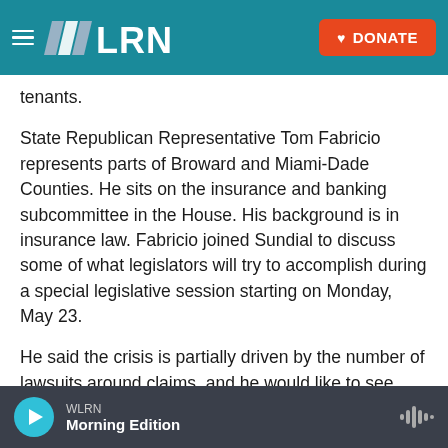WLRN | DONATE
tenants.
State Republican Representative Tom Fabricio represents parts of Broward and Miami-Dade Counties. He sits on the insurance and banking subcommittee in the House. His background is in insurance law. Fabricio joined Sundial to discuss some of what legislators will try to accomplish during a special legislative session starting on Monday, May 23.
He said the crisis is partially driven by the number of lawsuits around claims, and he would like to see
WLRN | Morning Edition